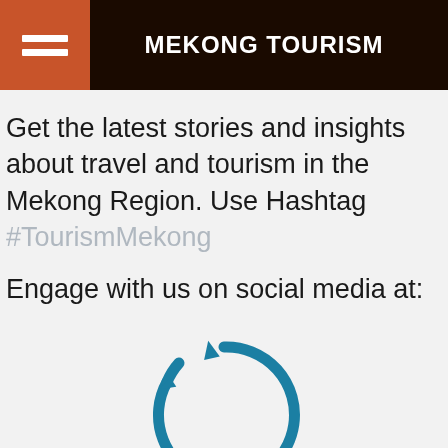MEKONG TOURISM
Get the latest stories and insights about travel and tourism in the Mekong Region. Use Hashtag #TourismMekong
Engage with us on social media at:
[Figure (other): A loading spinner circle in blue, partially complete with arrow indicators, centered in the lower portion of the page.]